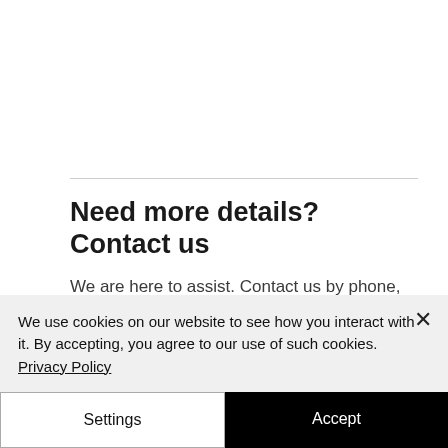Need more details? Contact us
We are here to assist. Contact us by phone, email or via our social media channels.
We use cookies on our website to see how you interact with it. By accepting, you agree to our use of such cookies. Privacy Policy